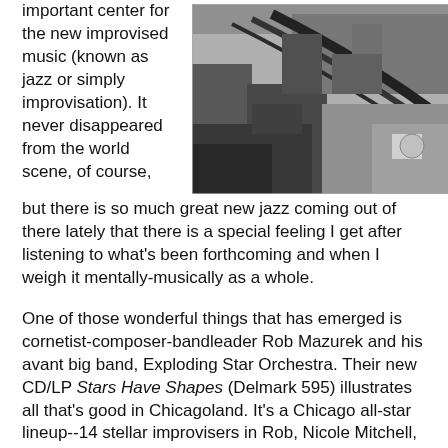important center for the new improvised music (known as jazz or simply improvisation). It never disappeared from the world scene, of course, but there is so much great new jazz coming out of there lately that there is a special feeling I get after listening to what's been forthcoming and when I weigh it mentally-musically as a whole.
[Figure (photo): Black and white aerial or overhead photograph showing a city scene with buildings, railroad tracks or curved infrastructure, and various urban structures.]
One of those wonderful things that has emerged is cornetist-composer-bandleader Rob Mazurek and his avant big band, Exploding Star Orchestra. Their new CD/LP Stars Have Shapes (Delmark 595) illustrates all that's good in Chicagoland. It's a Chicago all-star lineup--14 stellar improvisers in Rob, Nicole Mitchell, Jeb Bishop, Jason Stein, Greg Ward, Jason Adasiewicz, Mike Reed, and so on.
The compositions have flow and density. And Maestro Mazurek makes use of electronics at certain points to alter